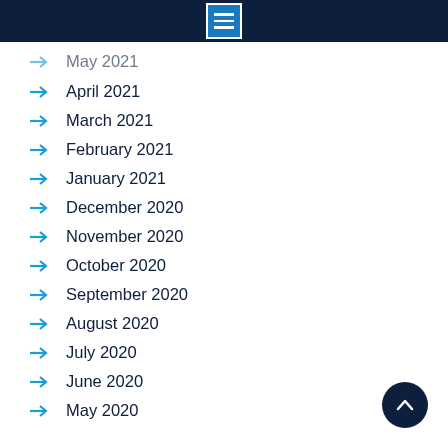Navigation menu header
May 2021
April 2021
March 2021
February 2021
January 2021
December 2020
November 2020
October 2020
September 2020
August 2020
July 2020
June 2020
May 2020